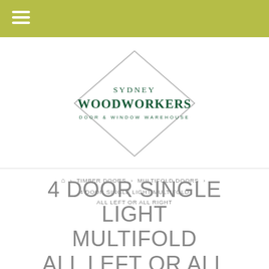Sydney Woodworkers Door & Window Warehouse
[Figure (logo): Sydney Woodworkers logo: diamond/rhombus outline containing text 'SYDNEY WOODWORKERS DOOR & WINDOW WAREHOUSE' in dark green serif and slab font]
Home > TIMBER DOORS > MULTIFOLD DOORS > 4 DOOR SINGLE LIGHT MULTIFOLD ALL LEFT OR ALL RIGHT
4 DOOR SINGLE LIGHT MULTIFOLD ALL LEFT OR ALL RIGHT